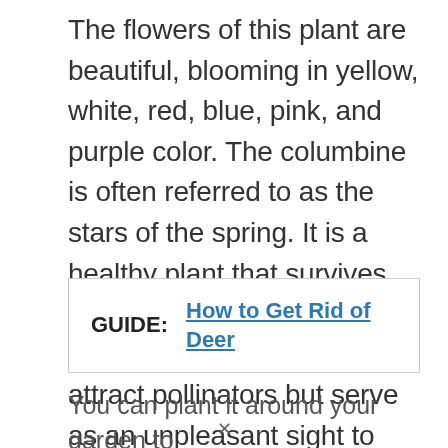The flowers of this plant are beautiful, blooming in yellow, white, red, blue, pink, and purple color. The columbine is often referred to as the stars of the spring. It is a healthy plant that survives all kinds of weather, no matter how harsh. They also attract pollinators but serve as an unpleasant sight to deers.
GUIDE: How to Get Rid of Deer
You can plant it around your garden to